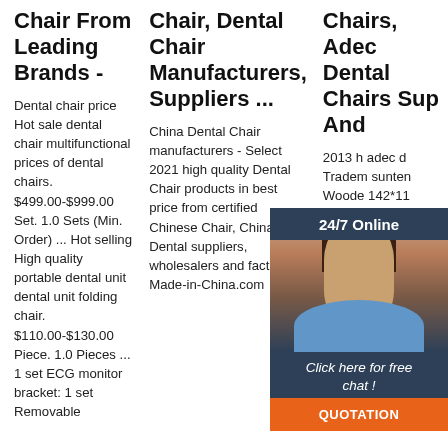Chair From Leading Brands -
Dental chair price Hot sale dental chair multifunctional prices of dental chairs. $499.00-$999.00 Set. 1.0 Sets (Min. Order) ... Hot selling High quality portable dental unit dental unit folding chair. $110.00-$130.00 Piece. 1.0 Pieces ... 1 set ECG monitor bracket: 1 set Removable
Chair, Dental Chair Manufacturers, Suppliers ...
China Dental Chair manufacturers - Select 2021 high quality Dental Chair products in best price from certified Chinese Chair, China Dental suppliers, wholesalers and factory on Made-in-China.com
Chairs, Adec Dental Chairs Sup And
2013 h adec d Tradem sunten Woode 142*11 Standa 9001, CE 0197 Origin: China HS Code: 90184910 Production Capacity: 50PCS/Month Dental Unit D307
[Figure (other): Chat widget overlay with a woman wearing a headset, dark blue background, '24/7 Online' text, 'Click here for free chat!' text, and an orange 'QUOTATION' button]
[Figure (other): Orange 'TOP' badge with three upward-pointing triangles above the word TOP in orange]